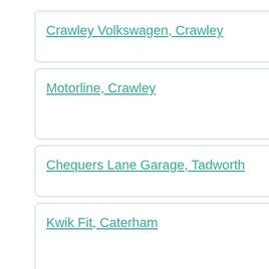Crawley Volkswagen, Crawley
Motorline, Crawley
Chequers Lane Garage, Tadworth
Kwik Fit, Caterham
Motorline Peugeot, Crawley
Harwoods Volvo Crawley,